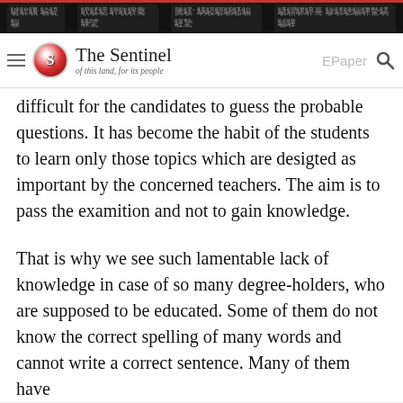Navigation bar with menu items (Assamese script) and The Sentinel logo, EPaper, search
difficult for the candidates to guess the probable questions. It has become the habit of the students to learn only those topics which are desigted as important by the concerned teachers. The aim is to pass the examition and not to gain knowledge.
That is why we see such lamentable lack of knowledge in case of so many degree-holders, who are supposed to be educated. Some of them do not know the correct spelling of many words and cannot write a correct sentence. Many of them have